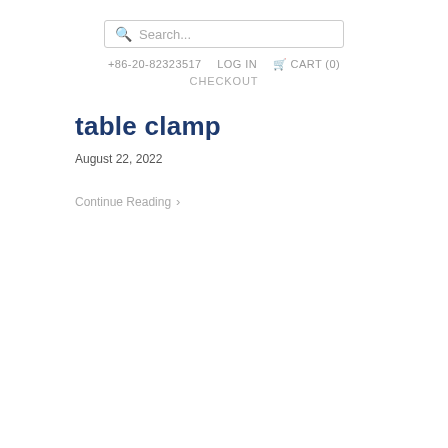Search...
+86-20-82323517   LOG IN   🛒 CART (0)   CHECKOUT
table clamp
August 22, 2022
Continue Reading >